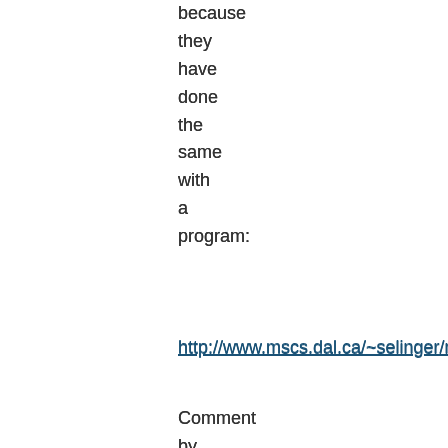because they have done the same with a program:
http://www.mscs.dal.ca/~selinger/md5collision/
Comment by Reply — 4 Dec 2008 @ 20:28
[…] Visualization of an MD5 collision […]
Pingback by Strong Hashing